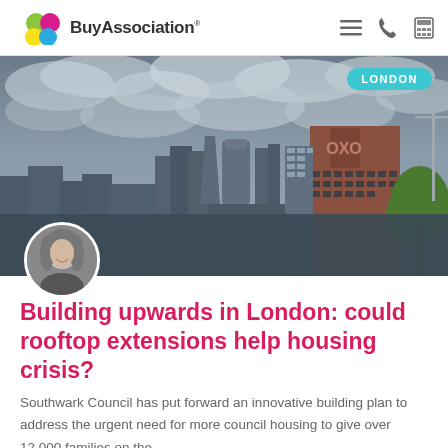BuyAssociation
[Figure (photo): Aerial cityscape photo of London showing the OXO Tower, modern skyscrapers including the Walkie-Talkie and Cheesegrater buildings in the background, under a dramatic cloudy sky. A green tree and crane visible on the right. A LONDON badge in teal is overlaid in the upper right corner.]
Building upwards in London: could rooftop extensions help housing crisis?
Southwark Council has put forward an innovative building plan to address the urgent need for more council housing to give over 12,000 families on the